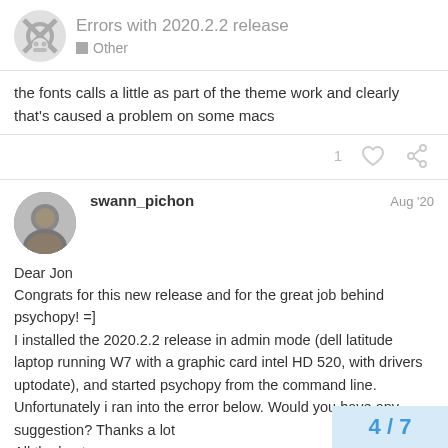Errors with 2020.2.2 release — Other
the fonts calls a little as part of the theme work and clearly that's caused a problem on some macs
swann_pichon — Aug '20
Dear Jon
Congrats for this new release and for the great job behind psychopy! =]
I installed the 2020.2.2 release in admin mode (dell latitude laptop running W7 with a graphic card intel HD 520, with drivers uptodate), and started psychopy from the command line. Unfortunately i ran into the error below. Would you have any suggestion? Thanks a lot
All the best
"C:\Program Files\PsychoPy3\python.exe"
4 / 7